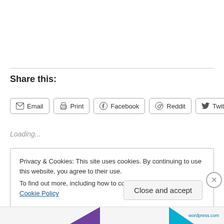Share this:
[Figure (other): Row of social share buttons: Email, Print, Facebook, Reddit, Twitter]
Loading...
Privacy & Cookies: This site uses cookies. By continuing to use this website, you agree to their use.
To find out more, including how to control cookies, see here: Cookie Policy
Close and accept